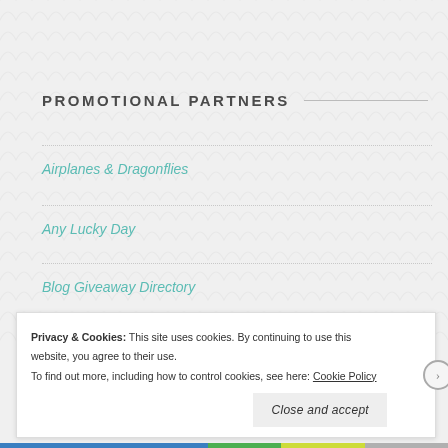PROMOTIONAL PARTNERS
Airplanes & Dragonflies
Any Lucky Day
Blog Giveaway Directory
Contest for Moms
Privacy & Cookies: This site uses cookies. By continuing to use this website, you agree to their use. To find out more, including how to control cookies, see here: Cookie Policy
Close and accept